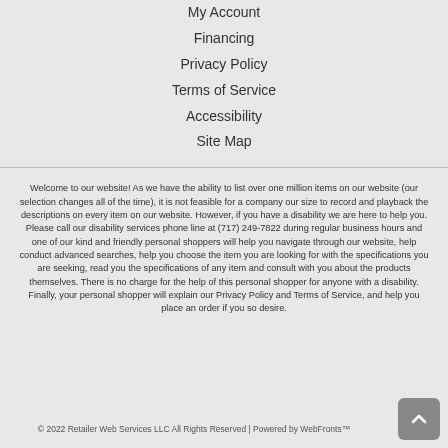My Account
Financing
Privacy Policy
Terms of Service
Accessibility
Site Map
Welcome to our website! As we have the ability to list over one million items on our website (our selection changes all of the time), it is not feasible for a company our size to record and playback the descriptions on every item on our website. However, if you have a disability we are here to help you. Please call our disability services phone line at (717) 249-7822 during regular business hours and one of our kind and friendly personal shoppers will help you navigate through our website, help conduct advanced searches, help you choose the item you are looking for with the specifications you are seeking, read you the specifications of any item and consult with you about the products themselves. There is no charge for the help of this personal shopper for anyone with a disability. Finally, your personal shopper will explain our Privacy Policy and Terms of Service, and help you place an order if you so desire.
© 2022 Retailer Web Services LLC All Rights Reserved | Powered by WebFronts™